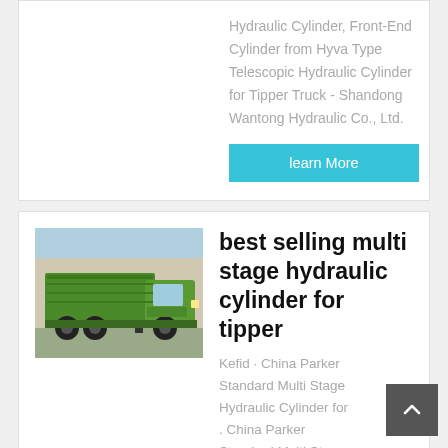Hydraulic Cylinder, Front-End Cylinder from Hyva Type Telescopic Hydraulic Cylinder for Tipper Truck - Shandong Wantong Hydraulic Co., Ltd.
learn More
[Figure (photo): Green dump/tipper truck parked in front of a building]
best selling multi stage hydraulic cylinder for tipper
Kefid · China Parker Standard Multi Stage Hydraulic Cylinder for . China Parker Standard Multi Stage Hydraulic Cylinder for Dump Truck...